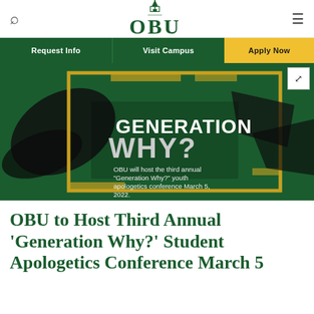OBU
[Figure (illustration): Promotional banner for OBU Generation Why? youth apologetics conference. Dark green background with gold geometric frame, black brushstroke accents. Title reads GENERATION WHY? in large white and grey text. Subtext: OBU will host the third annual "Generation Why?" youth apologetics conference March 5, 2022.]
OBU to Host Third Annual 'Generation Why?' Student Apologetics Conference March 5